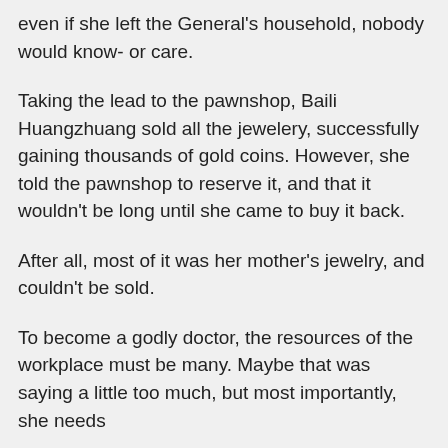even if she left the General's household, nobody would know- or care.
Taking the lead to the pawnshop, Baili Huangzhuang sold all the jewelery, successfully gaining thousands of gold coins. However, she told the pawnshop to reserve it, and that it wouldn't be long until she came to buy it back.
After all, most of it was her mother's jewelry, and couldn't be sold.
To become a godly doctor, the resources of the workplace must be many. Maybe that was saying a little too much, but most importantly, she needs